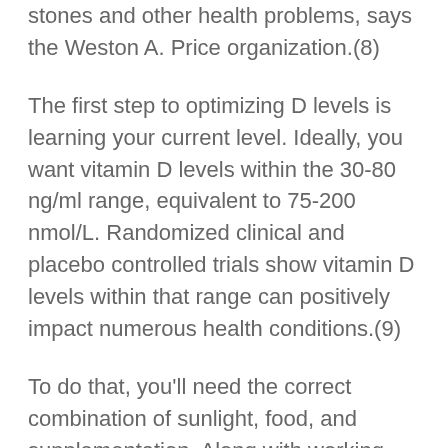stones and other health problems, says the Weston A. Price organization.(8)
The first step to optimizing D levels is learning your current level. Ideally, you want vitamin D levels within the 30-80 ng/ml range, equivalent to 75-200 nmol/L. Randomized clinical and placebo controlled trials show vitamin D levels within that range can positively impact numerous health conditions.(9)
To do that, you'll need the correct combination of sunlight, food, and supplementation. Along with working with your doctor or healthcare professional, these seven strategies can help optimize your vitamin D levels.